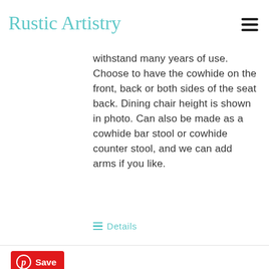Rustic Artistry
withstand many years of use. Choose to have the cowhide on the front, back or both sides of the seat back. Dining chair height is shown in photo. Can also be made as a cowhide bar stool or cowhide counter stool, and we can add arms if you like.
Details
[Figure (screenshot): Pinterest Save button in red]
[Figure (photo): Product photo of Molesworth dining table set with chairs in dark studio setting]
Molesworth Dining Table Set | Cody
$6,150